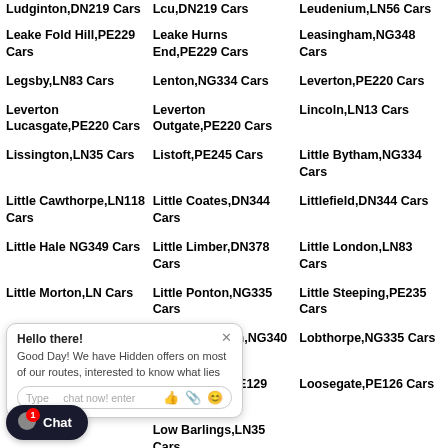Ludginton,DN219 Cars | Lcu,DN219 Cars | Leudenium,LN56 Cars
Leake Fold Hill,PE229 Cars
Leake Hurns End,PE229 Cars
Leasingham,NG348 Cars
Legsby,LN83 Cars
Lenton,NG334 Cars
Leverton,PE220 Cars
Leverton Lucasgate,PE220 Cars
Leverton Outgate,PE220 Cars
Lincoln,LN13 Cars
Lissington,LN35 Cars
Listoft,PE245 Cars
Little Bytham,NG334 Cars
Little Cawthorpe,LN118 Cars
Little Coates,DN344 Cars
Littlefield,DN344 Cars
Little Hale NG349 Cars
Little Limber,DN378 Cars
Little London,LN83 Cars
Little Morton,LN Cars
Little Ponton,NG335 Cars
Little Steeping,PE235 Cars
Little Wisbeach,NG340 Cars
Lobthorpe,NG335 Cars
Long Benning Cars
Long Sutton,PE129 Cars
Loosegate,PE126 Cars
Low Barlings,LN35 Cars